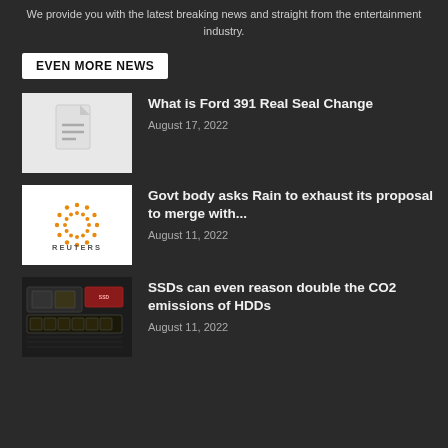We provide you with the latest breaking news and straight from the entertainment industry.
EVEN MORE NEWS
What is Ford 391 Real Seal Change
August 17, 2022
[Figure (photo): Document placeholder icon on light gray background]
Govt body asks Rain to exhaust its proposal to merge with...
August 11, 2022
[Figure (logo): Reuters logo with orange dot circle pattern and REUTERS text below]
SSDs can even reason double the CO2 emissions of HDDs
August 11, 2022
[Figure (photo): Close-up photo of computer hardware, SSD and circuit board components on dark background]